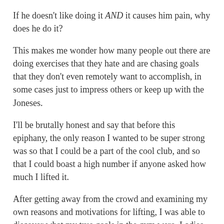If he doesn't like doing it AND it causes him pain, why does he do it?
This makes me wonder how many people out there are doing exercises that they hate and are chasing goals that they don't even remotely want to accomplish, in some cases just to impress others or keep up with the Joneses.
I'll be brutally honest and say that before this epiphany, the only reason I wanted to be super strong was so that I could be a part of the cool club, and so that I could boast a high number if anyone asked how much I lifted it.
After getting away from the crowd and examining my own reasons and motivations for lifting, I was able to discover what my true goals in the gym were. Ladies and gentlemen, I'm a simple man with simple needs. I want to